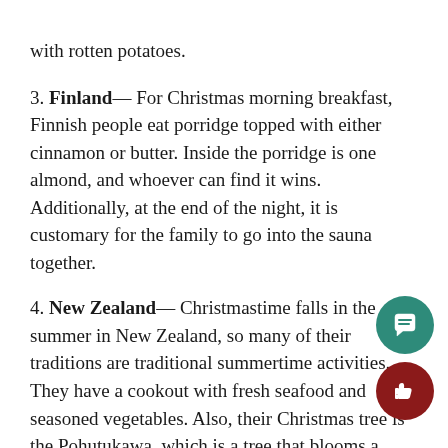with rotten potatoes.
3. Finland— For Christmas morning breakfast, Finnish people eat porridge topped with either cinnamon or butter. Inside the porridge is one almond, and whoever can find it wins. Additionally, at the end of the night, it is customary for the family to go into the sauna together.
4. New Zealand— Christmastime falls in the summer in New Zealand, so many of their traditions are traditional summertime activities. They have a cookout with fresh seafood and seasoned vegetables. Also, their Christmas tree is the Pohutukawa, which is a tree that blooms a bright red color around this time of year.
5. Japan— Christmas is not a national holiday in Japan, they still celebrate through food. Instead of the traditional turkey dinner,